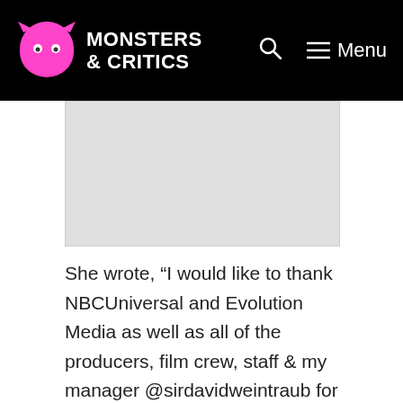MONSTERS & CRITICS — Menu
[Figure (other): Advertisement placeholder image area]
She wrote, “I would like to thank NBCUniversal and Evolution Media as well as all of the producers, film crew, staff & my manager @sirdavidweintraub for the opportunity to participate in season 15 of The Real Housewives of Orange County.”
While mentioning the fans, Elizabeth said, “To the Fans …I can never ever thank you enough for the outpouring of love, support and the kindness you have shown to me. Thank you for